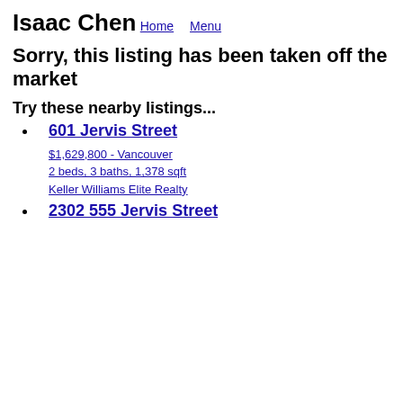Isaac Chen
Home   Menu
Sorry, this listing has been taken off the market
Try these nearby listings...
601 Jervis Street
$1,629,800 - Vancouver
2 beds, 3 baths, 1,378 sqft
Keller Williams Elite Realty
2302 555 Jervis Street